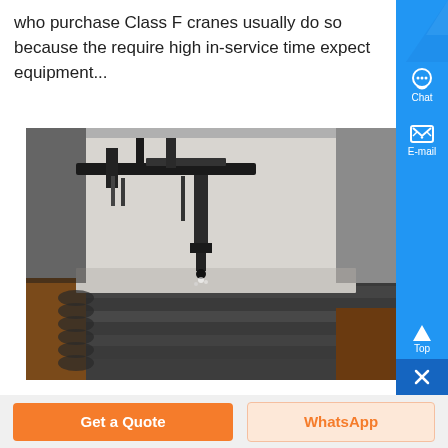who purchase Class F cranes usually do so because the require high in-service time expect equipment...
[Figure (photo): Industrial crane or plasma cutting machine working on a metal surface, close-up showing cutting head and stacked metal plates below.]
Get a Quote
WhatsApp